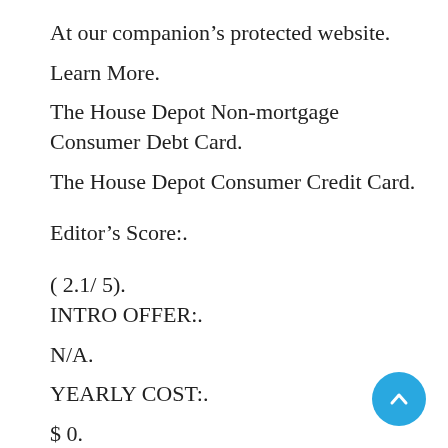At our companion's protected website.
Learn More.
The House Depot Non-mortgage Consumer Debt Card.
The House Depot Consumer Credit Card.
Editor's Score:.
( 2.1/ 5).
INTRO OFFER:.
N/A.
YEARLY COST:.
$ 0.
REGULAR APR:.